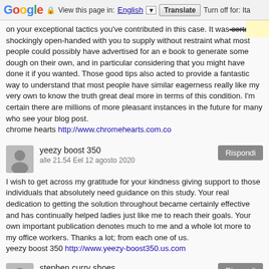Google  View this page in: English [▼]  Translate  Turn off for: Ita
on your exceptional tactics you've contributed in this case. It was certainly shockingly open-handed with you to supply without restraint what most people could possibly have advertised for an e book to generate some dough on their own, and in particular considering that you might have done it if you wanted. Those good tips also acted to provide a fantastic way to understand that most people have similar eagerness really like my very own to know the truth great deal more in terms of this condition. I'm certain there are millions of more pleasant instances in the future for many who see your blog post. chrome hearts http://www.chromehearts.com.co
yeezy boost 350
alle 21.54 Eel 12 agosto 2020
I wish to get across my gratitude for your kindness giving support to those individuals that absolutely need guidance on this study. Your real dedication to getting the solution throughout became certainly effective and has continually helped ladies just like me to reach their goals. Your own important publication denotes much to me and a whole lot more to my office workers. Thanks a lot; from each one of us.
yeezy boost 350 http://www.yeezy-boost350.us.com
stephen curry shoes